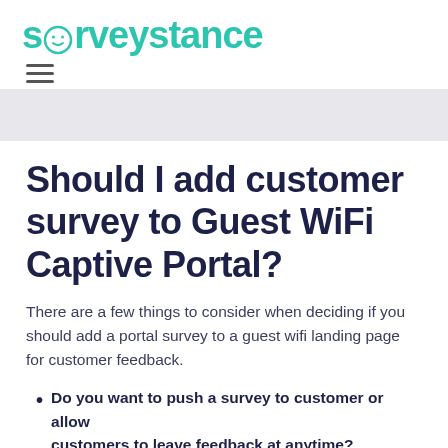surveystance
Should I add customer survey to Guest WiFi Captive Portal?
There are a few things to consider when deciding if you should add a portal survey to a guest wifi landing page for customer feedback.
Do you want to push a survey to customer or allow customers to leave feedback at anytime?